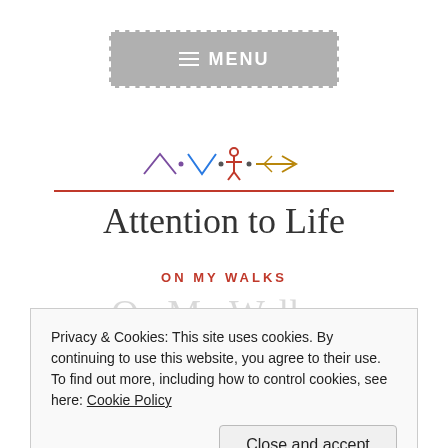[Figure (screenshot): Gray MENU button with hamburger icon and dashed white border]
[Figure (logo): Stylized logo with colorful geometric bird/arrow shapes above a red horizontal line]
Attention to Life
ON MY WALKS
Privacy & Cookies: This site uses cookies. By continuing to use this website, you agree to their use. To find out more, including how to control cookies, see here: Cookie Policy
Close and accept
today I got caught walking twice and both times my